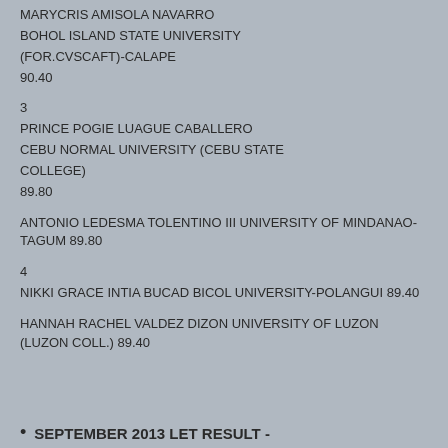MARYCRIS AMISOLA NAVARRO
BOHOL ISLAND STATE UNIVERSITY
(FOR.CVSCAFT)-CALAPE
90.40
3
PRINCE POGIE LUAGUE CABALLERO
CEBU NORMAL UNIVERSITY (CEBU STATE COLLEGE)
89.80
ANTONIO LEDESMA TOLENTINO III UNIVERSITY OF MINDANAO-TAGUM 89.80
4
NIKKI GRACE INTIA BUCAD BICOL UNIVERSITY-POLANGUI 89.40
HANNAH RACHEL VALDEZ DIZON UNIVERSITY OF LUZON (LUZON COLL.) 89.40
• SEPTEMBER 2013 LET RESULT -